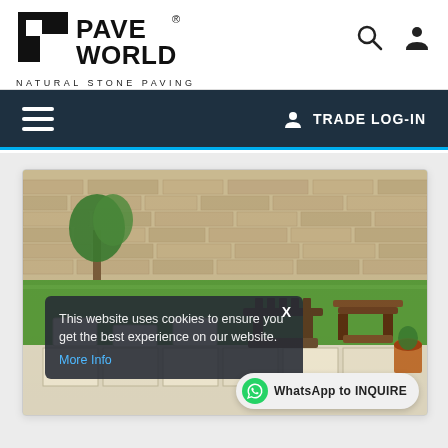[Figure (logo): Pave World Natural Stone Paving logo with geometric icon and bold text]
PAVE WORLD® NATURAL STONE PAVING — TRADE LOG-IN
[Figure (photo): Garden patio with natural stone paving, lawn, wooden garden furniture and brick wall in background]
This website uses cookies to ensure you get the best experience on our website.
More Info
WhatsApp to INQUIRE